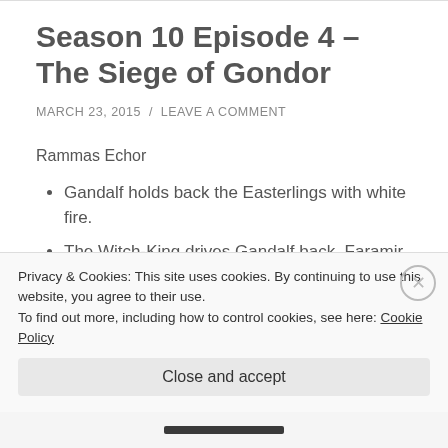Season 10 Episode 4 – The Siege of Gondor
MARCH 23, 2015 / LEAVE A COMMENT
Rammas Echor
Gandalf holds back the Easterlings with white fire.
The Witch-King drives Gandalf back. Faramir and his men cover Gandalf. He tells Gandalf to return
Privacy & Cookies: This site uses cookies. By continuing to use this website, you agree to their use.
To find out more, including how to control cookies, see here: Cookie Policy
Close and accept